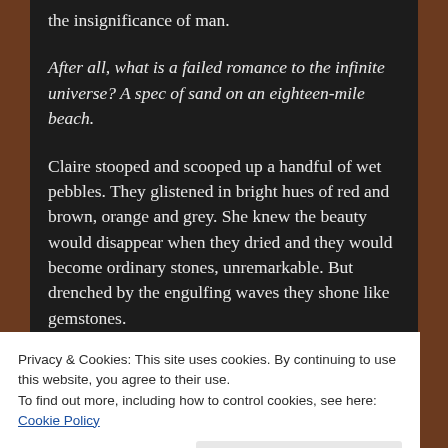the insignificance of man.
After all, what is a failed romance to the infinite universe? A spec of sand on an eighteen-mile beach.
Claire stooped and scooped up a handful of wet pebbles. They glistened in bright hues of red and brown, orange and grey. She knew the beauty would disappear when they dried and they would become ordinary stones, unremarkable. But drenched by the engulfing waves they shone like gemstones.
Still crouched by the edge of the tide, Claire looked along
Privacy & Cookies: This site uses cookies. By continuing to use this website, you agree to their use.
To find out more, including how to control cookies, see here: Cookie Policy